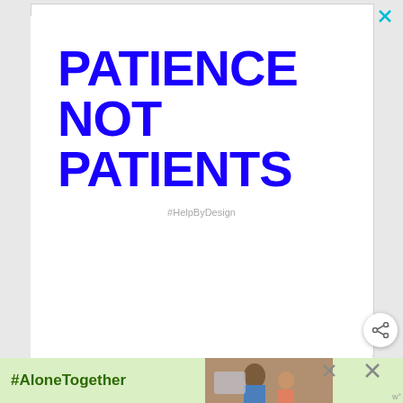[Figure (illustration): White card background with bold blue text reading PATIENCE NOT PATIENTS and a gray hashtag #HelpByDesign below]
#HelpByDesign
[Figure (photo): Advertisement banner with green background showing #AloneTogether text and a photo of a man and child waving at a laptop screen]
#AloneTogether